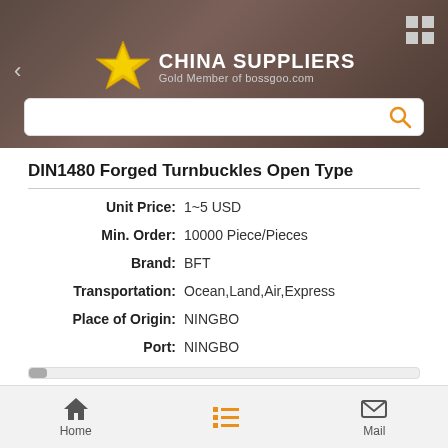[Figure (screenshot): China Suppliers app header with gold star logo, 'CHINA SUPPLIERS' title, 'Gold Member of bossgoo.com' subtitle, back arrow, grid icon, and search bar]
DIN1480 Forged Turnbuckles Open Type
Unit Price: 1~5 USD
Min. Order: 10000 Piece/Pieces
Brand: BFT
Transportation: Ocean,Land,Air,Express
Place of Origin: NINGBO
Port: NINGBO
Product Description
Home | (list icon) | Mail